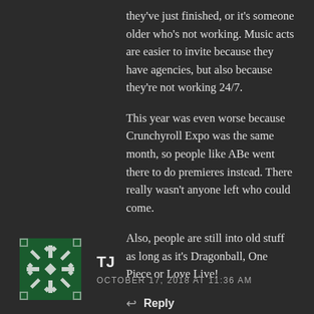they've just finished, or it's someone older who's not working. Music acts are easier to invite because they have agencies, but also because they're not working 24/7.
This year was even worse because Crunchyroll Expo was the same month, so people like ABe went there to do premieres instead. There really wasn't anyone left who could come.
Also, people are still into old stuff as long as it's Dragonball, One Piece or Love Live!
Reply
TJ
OCTOBER 17, 2018 AT 11:36 AM